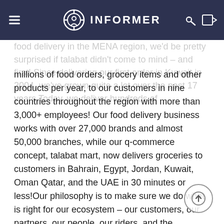INFORMER
food delivery in the MENA region, we'd be pretty surprised if talabat didn't come to mind – and first! Since delivering our first order in Kuwait in 2004, we've grown quite a lot over the past 17 years.Today, we deliver hundreds of millions of food orders, grocery items and other products per year, to our customers in nine countries throughout the region with more than 3,000+ employees! Our food delivery business works with over 27,000 brands and almost 50,000 branches, while our q-commerce concept, talabat mart, now delivers groceries to customers in Bahrain, Egypt, Jordan, Kuwait, Oman Qatar, and the UAE in 30 minutes or less!Our philosophy is to make sure we do what is right for our ecosystem – our customers, our partners, our people, our riders, and the communities in which we operate. Our #techforgood program allows our customers a safe and convenient way to contribute to important causes in their community through donating to local and international charities directly on talabat with a focus on food insecurity in the region. Since its inception in